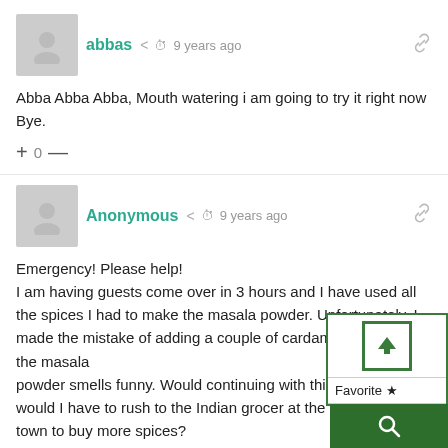abbas  9 years ago
Abba Abba Abba, Mouth watering i am going to try it right now Bye.
+ 0 —
Anonymous  9 years ago
Emergency! Please help!
I am having guests come over in 3 hours and I have used all the spices I had to make the masala powder. Unfortunately, I made the mistake of adding a couple of cardamoms and now the masala powder smells funny. Would continuing with this powder be would I have to rush to the Indian grocer at the other end of town to buy more spices?